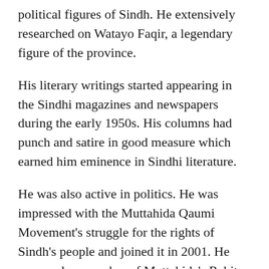political figures of Sindh. He extensively researched on Watayo Faqir, a legendary figure of the province.
His literary writings started appearing in the Sindhi magazines and newspapers during the early 1950s. His columns had punch and satire in good measure which earned him eminence in Sindhi literature.
He was also active in politics. He was impressed with the Muttahida Qaumi Movement's struggle for the rights of Sindh's people and joined it in 2001. He was made a member of Muttahida's Rabita Committee and also served as member of its Research and advisory Council.